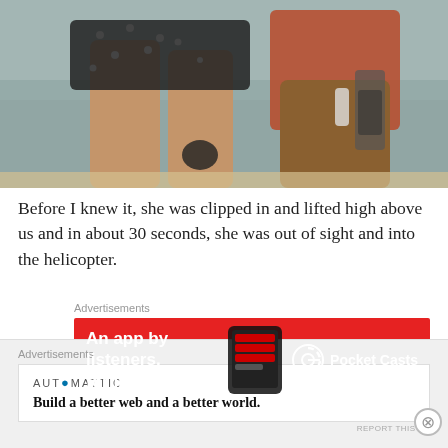[Figure (photo): Photo showing the lower body/legs of a person wearing a dark polka-dot skirt, standing near water. Another person with a hiking backpack and gear is visible beside them.]
Before I knew it, she was clipped in and lifted high above us and in about 30 seconds, she was out of sight and into the helicopter.
Advertisements
[Figure (other): Pocket Casts advertisement banner with red background. Text: 'An app by listeners, for listeners.' with Pocket Casts logo and app image.]
REPORT THIS AD
[Figure (photo): Partial view of next image strip - green and grey tones]
Advertisements
[Figure (other): Automattic advertisement. Logo: AUTOMATTIC. Tagline: Build a better web and a better world.]